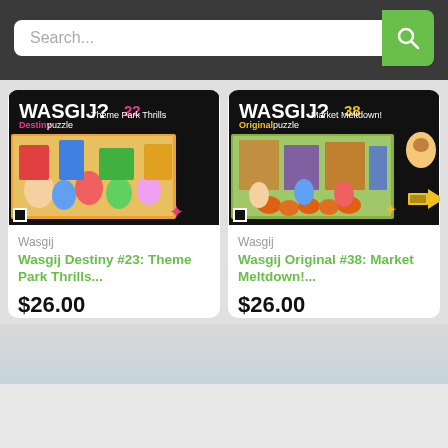Search...
[Figure (illustration): Wasgij Destiny #23 Theme Park Thrills puzzle box with colorful cartoon theme park scene]
Wasgij
Wasgij Destiny #23: Theme Park Thrills...
$26.00
[Figure (illustration): Wasgij Original #38 Market Meltdown puzzle box with colorful cartoon market scene]
Wasgij
Wasgij Original #38: Market Meltdown!...
$26.00